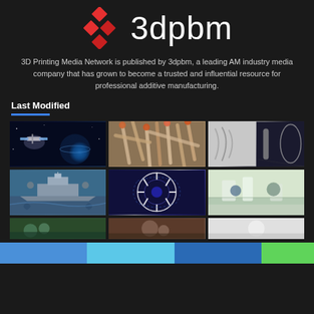[Figure (logo): 3dpbm logo with red diamond shapes and white text '3dpbm']
3D Printing Media Network is published by 3dpbm, a leading AM industry media company that has grown to become a trusted and influential resource for professional additive manufacturing.
Last Modified
[Figure (photo): Grid of 9 thumbnail photos: satellite in space, cigarette butts, microscope images, military ship, blue/white gear or mechanical part, lab workers, additional partial images at bottom]
[Figure (infographic): Color block strip at bottom: blue, light blue, dark blue, green]